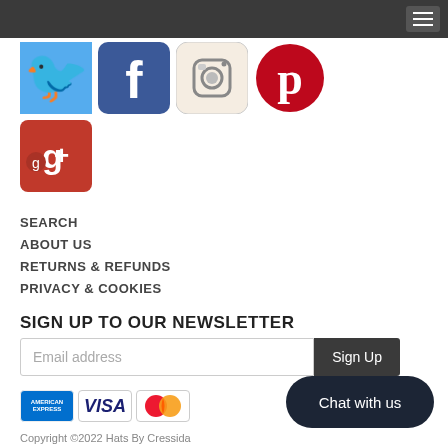[Figure (screenshot): Top navigation bar with hamburger menu icon on dark background]
[Figure (infographic): Social media icons: Twitter (blue bird), Facebook (blue f), Instagram (camera), Pinterest (red P), Google+ (red g+)]
SEARCH
ABOUT US
RETURNS & REFUNDS
PRIVACY & COOKIES
SIGN UP TO OUR NEWSLETTER
Email address [input] Sign Up [button]
[Figure (logo): Payment method icons: American Express, Visa, Mastercard]
Chat with us
Copyright ©2022 Hats By Cressida